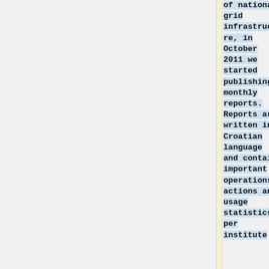of national grid infrastructure, in October 2011 we started publishing monthly reports. Reports are written in Croatian language and contain important operations actions and usage statistics per institute